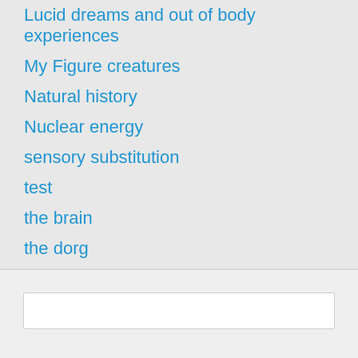Lucid dreams and out of body experiences
My Figure creatures
Natural history
Nuclear energy
sensory substitution
test
the brain
the dorg
the vOICe
Uncategorized